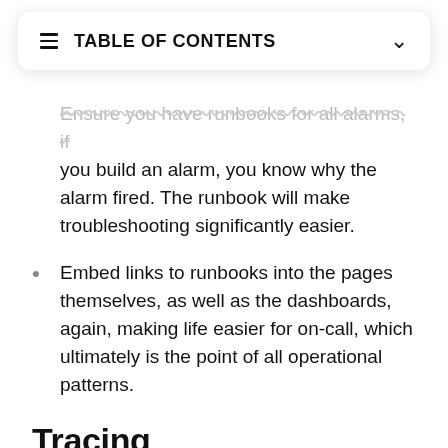TABLE OF CONTENTS
Ensure you have runbooks for all alarms, if you build an alarm, you know why the alarm fired. The runbook will make troubleshooting significantly easier.
Embed links to runbooks into the pages themselves, as well as the dashboards, again, making life easier for on-call, which ultimately is the point of all operational patterns.
Tracing
Tracing is one of those things that, once you